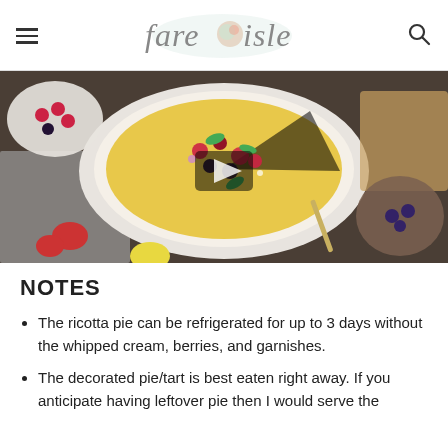fare isle
[Figure (photo): Overhead view of a ricotta pie/tart with berries, raspberries, blackberries, strawberries and mint garnish in a white pie dish, surrounded by bowls of berries and a knife, with a video play button overlay.]
NOTES
The ricotta pie can be refrigerated for up to 3 days without the whipped cream, berries, and garnishes.
The decorated pie/tart is best eaten right away. If you anticipate having leftover pie then I would serve the